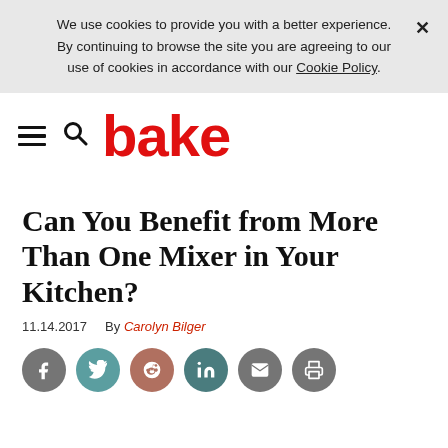We use cookies to provide you with a better experience. × By continuing to browse the site you are agreeing to our use of cookies in accordance with our Cookie Policy.
bake
Can You Benefit from More Than One Mixer in Your Kitchen?
11.14.2017   By Carolyn Bilger
[Figure (infographic): Row of 6 social sharing icon buttons: Facebook (dark gray), Twitter (teal), Reddit (tan/salmon), LinkedIn (dark teal), Email (gray), Print (gray)]